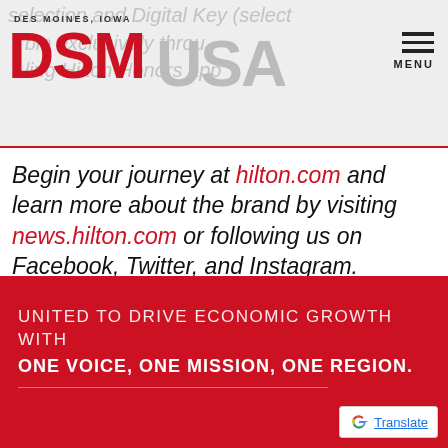DES MOINES, IOWA — DSM USA
Begin your journey at hilton.com and learn more about the brand by visiting news.hilton.com or following us on Facebook, Twitter, and Instagram.
UNITED TO DRIVE ECONOMIC GROWTH WITH ONE VOICE, ONE MISSION, ONE REGION.
[Figure (logo): Google Translate button badge]